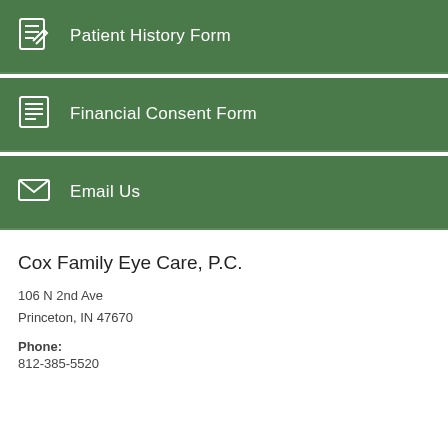Patient History Form
Financial Consent Form
Email Us
Cox Family Eye Care, P.C.
106 N 2nd Ave
Princeton, IN 47670
Phone:
812-385-5520